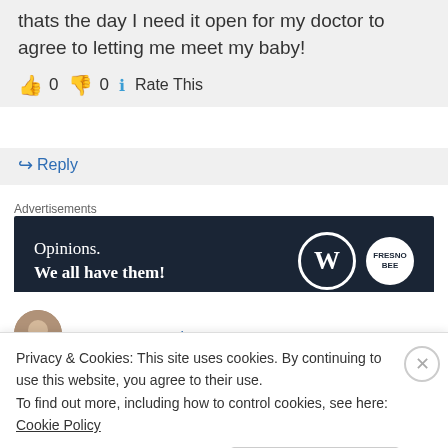thats the day I need it open for my doctor to agree to letting me meet my baby!
👍 0 👎 0 ℹ️ Rate This
↪ Reply
Advertisements
[Figure (other): Advertisement banner: dark navy background with text 'Opinions. We all have them!' and WordPress logo circle plus Fresno Bee logo circle on the right]
ecavey on March 21, 2013 at 5:24 pm
Privacy & Cookies: This site uses cookies. By continuing to use this website, you agree to their use.
To find out more, including how to control cookies, see here: Cookie Policy
Close and accept